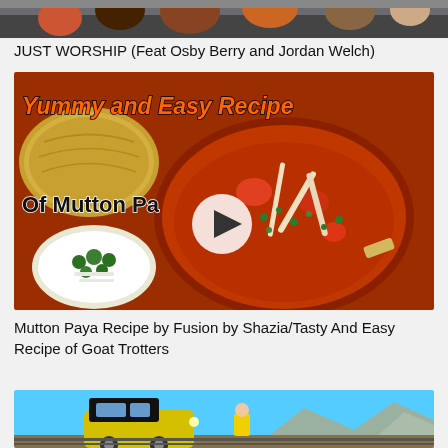[Figure (photo): Top portion of a YouTube video thumbnail showing people, partially cut off at top]
JUST WORSHIP (Feat Osby Berry and Jordan Welch)
[Figure (photo): Video thumbnail for Mutton Paya Recipe showing a bowl of red curry/stew with bones, cilantro bowl on the side, fried bread, with text 'Yummy and Easy Recipe Of Mutton Paya' and a play button overlay]
Mutton Paya Recipe by Fusion by Shazia/Tasty And Easy Recipe of Goat Trotters
[Figure (photo): Video thumbnail showing a yellow train engine, a person in yellow jacket standing near railway tracks, blue sky, and mountains in the background]